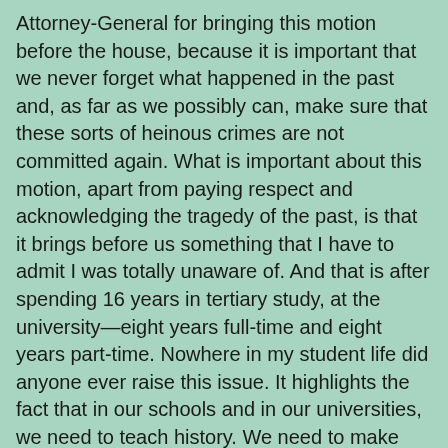Attorney-General for bringing this motion before the house, because it is important that we never forget what happened in the past and, as far as we possibly can, make sure that these sorts of heinous crimes are not committed again. What is important about this motion, apart from paying respect and acknowledging the tragedy of the past, is that it brings before us something that I have to admit I was totally unaware of. And that is after spending 16 years in tertiary study, at the university—eight years full-time and eight years part-time. Nowhere in my student life did anyone ever raise this issue. It highlights the fact that in our schools and in our universities, we need to teach history. We need to make people aware of what has happened in the past. We have silly people going around denying, for example, the Holocaust, which was an evil series of acts against the Jewish people performed by that maniac Hitler, but it also took the lives of many gypsies and people with disabilities; we often forget that many of them died in their thousands as well.
As the member for Enfield said, there are plenty of other examples in history—some recent, many well in the past: in Africa; some of the things that were done for example by the